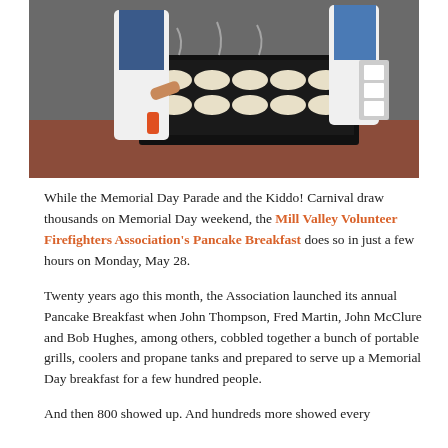[Figure (photo): People in white aprons cooking pancakes on a large black griddle with many round pancakes visible, steam rising, in an indoor setting.]
While the Memorial Day Parade and the Kiddo! Carnival draw thousands on Memorial Day weekend, the Mill Valley Volunteer Firefighters Association's Pancake Breakfast does so in just a few hours on Monday, May 28.
Twenty years ago this month, the Association launched its annual Pancake Breakfast when John Thompson, Fred Martin, John McClure and Bob Hughes, among others, cobbled together a bunch of portable grills, coolers and propane tanks and prepared to serve up a Memorial Day breakfast for a few hundred people.
And then 800 showed up. And hundreds more showed every